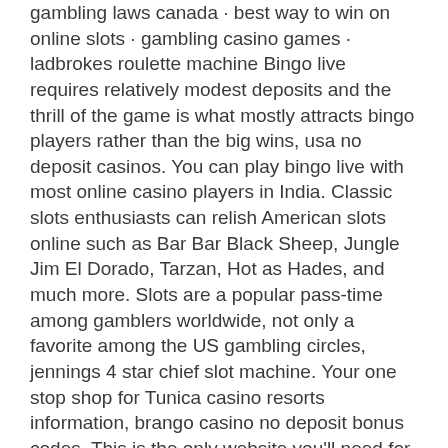gambling laws canada · best way to win on online slots · gambling casino games · ladbrokes roulette machine Bingo live requires relatively modest deposits and the thrill of the game is what mostly attracts bingo players rather than the big wins, usa no deposit casinos. You can play bingo live with most online casino players in India. Classic slots enthusiasts can relish American slots online such as Bar Bar Black Sheep, Jungle Jim El Dorado, Tarzan, Hot as Hades, and much more. Slots are a popular pass-time among gamblers worldwide, not only a favorite among the US gambling circles, jennings 4 star chief slot machine. Your one stop shop for Tunica casino resorts information, brango casino no deposit bonus codes. This is the only website you'll need for Tunica casinos. Some modern classic slots have moved away from the 3 reel system, some have increased to a massive number of paylines, the effect of